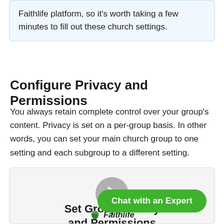Faithlife platform, so it’s worth taking a few minutes to fill out these church settings.
Configure Privacy and Permissions
You always retain complete control over your group’s content. Privacy is set on a per-group basis. In other words, you can set your main church group to one setting and each subgroup to a different setting.
[Figure (screenshot): Video thumbnail showing 'Set Group Privacy and Permissions' with a play button and Faithlife logo at bottom, with a green 'Chat with an Expert' button overlay]